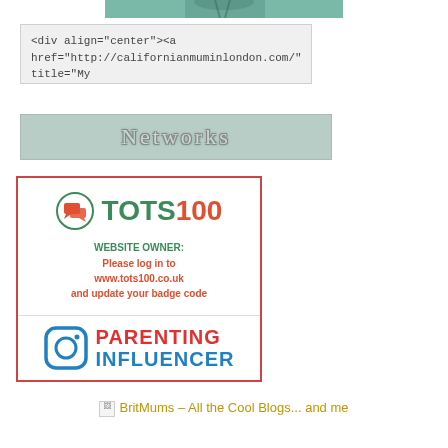[Figure (photo): Photo strip showing tropical palm tree scene at the top]
<div align="center"><a
href="http://californianmuminlondon.com/" title="My
Networks
[Figure (logo): TOTS100 badge with website owner login message and PARENTING INFLUENCER Instagram badge]
[Figure (logo): BritMums - All the Cool Blogs... and me (broken image)]